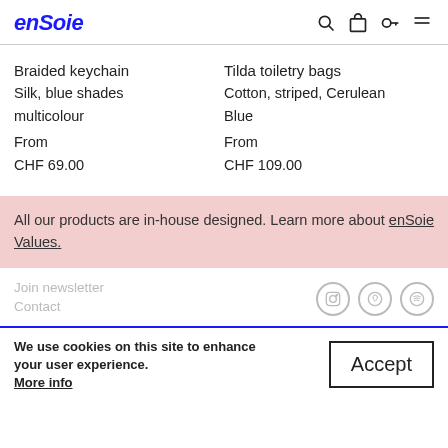enSoie
Braided keychain
Silk, blue shades multicolour
From
CHF 69.00
Tilda toiletry bags
Cotton, striped, Cerulean Blue
From
CHF 109.00
All our products are in-house designed. Learn more about enSoie Values.
Join newsletter
Contact
We use cookies on this site to enhance your user experience.
More info
Accept